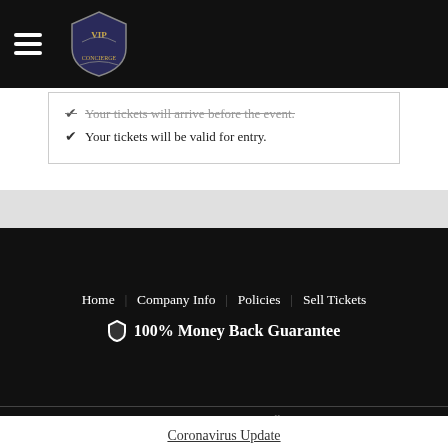VIP Concierge — navigation header with logo and hamburger menu
Your tickets will arrive before the event.
Your tickets will be valid for entry.
Home | Company Info | Policies | Sell Tickets
🛡 100% Money Back Guarantee
We are a resale marketplace, not a box office or venue. Ticket prices may be below or above face value.
[Figure (other): Payment method icons: VISA, MasterCard, American Express, Discover, Diners Club International, PayPal]
© 2022 All rights reserved
Coronavirus Update